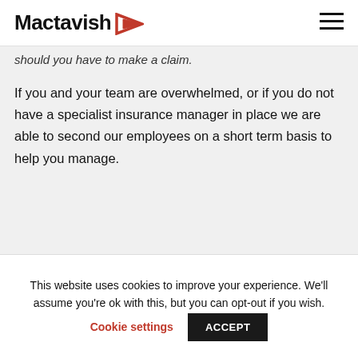Mactavish
should you have to make a claim.
If you and your team are overwhelmed, or if you do not have a specialist insurance manager in place we are able to second our employees on a short term basis to help you manage.
Are there new risks you should look to
This website uses cookies to improve your experience. We'll assume you're ok with this, but you can opt-out if you wish.
Cookie settings   ACCEPT